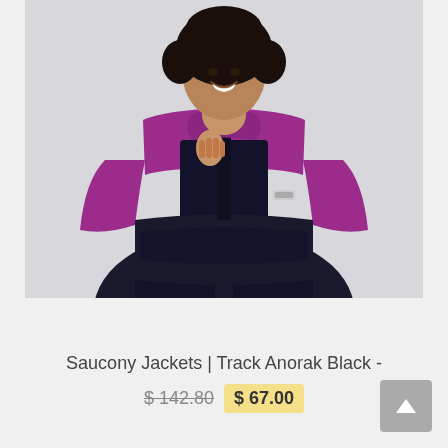[Figure (photo): A woman wearing a Saucony Track Anorak jacket in purple and navy colorblock design, smiling, shown from the waist up against a light grey background.]
Saucony Jackets | Track Anorak Black -
$ 142.80  $ 67.00